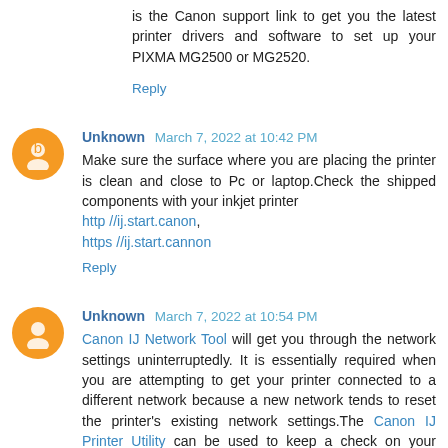is the Canon support link to get you the latest printer drivers and software to set up your PIXMA MG2500 or MG2520.
Reply
Unknown March 7, 2022 at 10:42 PM
Make sure the surface where you are placing the printer is clean and close to Pc or laptop.Check the shipped components with your inkjet printer http //ij.start.canon, https //ij.start.cannon
Reply
Unknown March 7, 2022 at 10:54 PM
Canon IJ Network Tool will get you through the network settings uninterruptedly. It is essentially required when you are attempting to get your printer connected to a different network because a new network tends to reset the printer's existing network settings.The Canon IJ Printer Utility can be used to keep a check on your printer's ink levels and